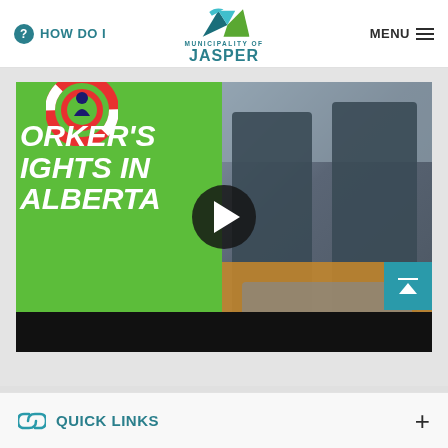HOW DO I | Municipality of Jasper | MENU
[Figure (screenshot): Municipality of Jasper website screenshot showing navigation header with HOW DO I link, Municipality of Jasper logo, and MENU button]
[Figure (photo): Video thumbnail showing Worker's Rights in Alberta video with green background text and workers in a warehouse setting, with a play button overlay]
QUICK LINKS